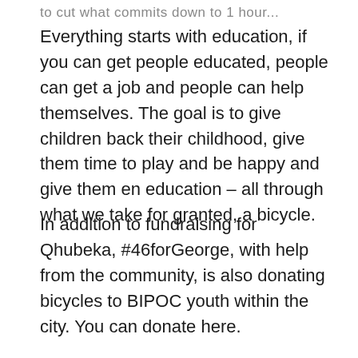to cut what commits down to 1 hour...
Everything starts with education, if you can get people educated, people can get a job and people can help themselves. The goal is to give children back their childhood, give them time to play and be happy and give them en education – all through what we take for granted, a bicycle.
In addition to fundraising for Qhubeka, #46forGeorge, with help from the community, is also donating bicycles to BIPOC youth within the city. You can donate here.